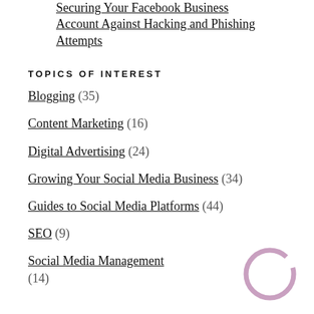Securing Your Facebook Business Account Against Hacking and Phishing Attempts
TOPICS OF INTEREST
Blogging (35)
Content Marketing (16)
Digital Advertising (24)
Growing Your Social Media Business (34)
Guides to Social Media Platforms (44)
SEO (9)
Social Media Management (14)
[Figure (donut-chart): Partial donut/circle graphic in purple/pink, decorative element in bottom right corner]